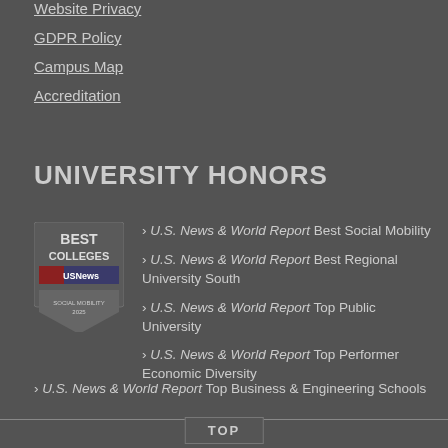Website Privacy
GDPR Policy
Campus Map
Accreditation
UNIVERSITY HONORS
[Figure (logo): US News Best Colleges Best Social Mobility badge/seal]
› U.S. News & World Report Best Social Mobility
› U.S. News & World Report Best Regional University South
› U.S. News & World Report Top Public University
› U.S. News & World Report Top Performer Economic Diversity
› U.S. News & World Report Top Business & Engineering Schools
TOP